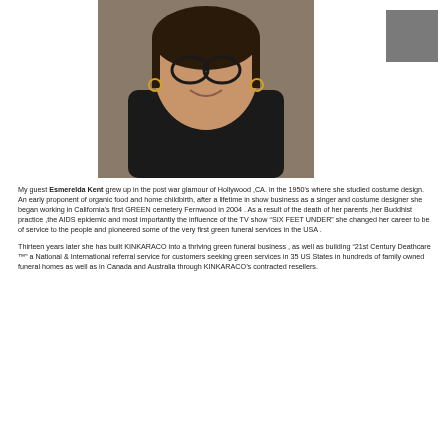[Figure (photo): Portrait photo of Esmerelda Kent, a woman wearing glasses and a black top, smiling at the camera]
My guest Esmerelda Kent grew up in the post war glamour of Hollywood ,CA. in the 1950's where she studied costume design. An early proponent of organic food and home childbirth, after a lifetime in show business as a singer and costume designer she began working in California's first GREEN cemetery Fernwood in 2004 . As a result of the death of her parents ,her Buddhist practice ,the AIDS epidemic and most importantly the influence of the TV show “SIX FEET UNDER” she changed her career to be of service to the people and pioneered some of the very first green funeral services in the USA .
Thirteen years later she has built KINKARACO into a thriving green funeral business , as well as building “21st Century Deathcare ™” a National & International referral service for customers seeking green services in 35 US States in hundreds of family owned funeral homes as well as in Canada and Australia through KINKARACO’s contracted resellers.